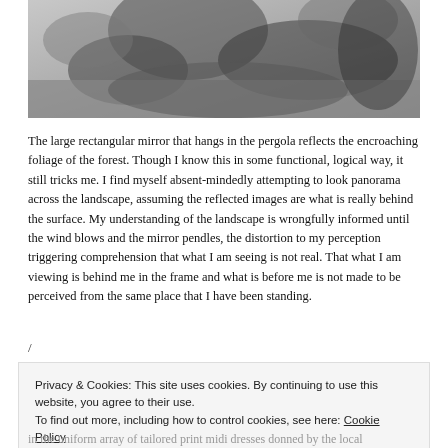[Figure (photo): Black and white photograph showing blurred hands or figures, partially visible at top of page]
The large rectangular mirror that hangs in the pergola reflects the encroaching foliage of the forest. Though I know this in some functional, logical way, it still tricks me. I find myself absent-mindedly attempting to look panorama across the landscape, assuming the reflected images are what is really behind the surface. My understanding of the landscape is wrongfully informed until the wind blows and the mirror pendles, the distortion to my perception triggering comprehension that what I am seeing is not real. That what I am viewing is behind me in the frame and what is before me is not made to be perceived from the same place that I have been standing.
/
Privacy & Cookies: This site uses cookies. By continuing to use this website, you agree to their use.
To find out more, including how to control cookies, see here: Cookie Policy
in the uniform array of tailored print midi dresses donned by the local